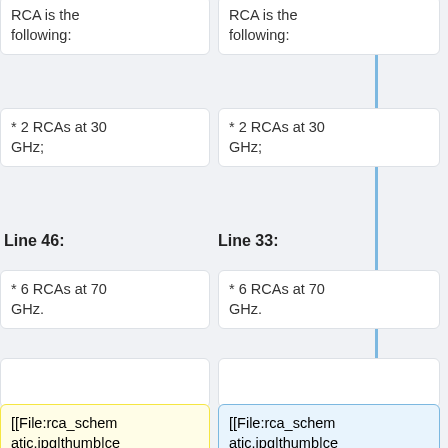RCA is the following:
RCA is the following:
* 2 RCAs at 30 GHz;
* 2 RCAs at 30 GHz;
Line 46:
Line 33:
* 6 RCAs at 70 GHz.
* 6 RCAs at 70 GHz.
[[File:rca_schematic.jpg|thumb|center|640px|Figure 4. A complete RCA from feedhorn to analog voltage output. The insets show the OMT, the details of the 20 K pseudo-correlator and of
[[File:rca_schematic.jpg|thumb|center|640px|'''Figure 2. A complete RCA from feedhorn to analog voltage output. The insets show the OMT, the details of the 20 K pseudo-correlator and of